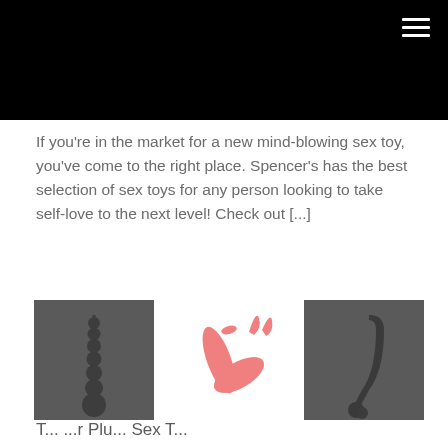[Figure (other): Black navigation header bar with hamburger menu icon in top right corner]
If you're in the market for a new mind-blowing sex toy, you've come to the right place. Spencer's has the best selection of sex toys for any person looking to take self-love to the next level! Check out [...]
[Figure (photo): Three product images: left - dark grey anal beads on grey background, center - pink rabbit vibrator on white background, right - dark grey prostate toy on grey background]
T... ...r Plu... Sex T...